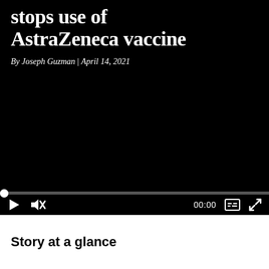stops use of AstraZeneca vaccine
By Joseph Guzman | April 14, 2021
[Figure (screenshot): Video player with black background showing a news video. Controls bar at bottom with play button, mute button, 00:00 timestamp, captions button, and fullscreen button. Progress bar with white dot at the start.]
Story at a glance